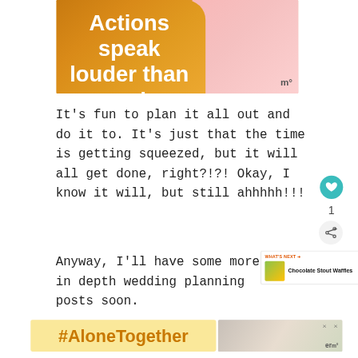[Figure (illustration): Illustrated graphic of a person with text overlay reading 'Actions speak louder than words.' on an orange/golden background with pink tones.]
It's fun to plan it all out and do it to. It's just that the time is getting squeezed, but it will all get done, right?!?! Okay, I know it will, but still ahhhhh!!!
Anyway, I'll have some more in depth wedding planning posts soon.
[Figure (infographic): What's Next widget showing 'Chocolate Stout Waffles' with a food photo thumbnail.]
[Figure (infographic): #AloneTogether ad banner in yellow with a photo of a person cooking on the right side.]